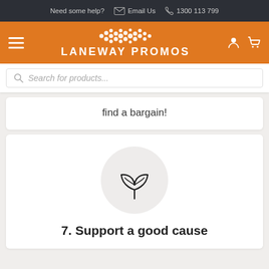Need some help? Email Us 1300 113 799
[Figure (logo): Laneway Promos logo: orange header bar with white dot pattern above white text 'LANEWAY PROMOS', hamburger menu icon on left, user and cart icons on right]
Search for products...
find a bargain!
[Figure (illustration): A plant/leaf icon (two leaves forming a shape) inside a light grey circle, representing eco or sustainability theme]
7. Support a good cause